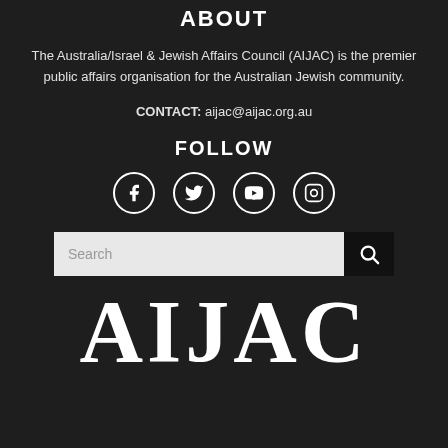ABOUT
The Australia/Israel & Jewish Affairs Council (AIJAC) is the premier public affairs organisation for the Australian Jewish community.
CONTACT: aijac@aijac.org.au
FOLLOW
[Figure (infographic): Four social media icons in circles: Facebook, Twitter, YouTube, Instagram]
[Figure (other): Search bar with text input field and search button icon]
[Figure (logo): AIJAC large white serif logo text on dark background]